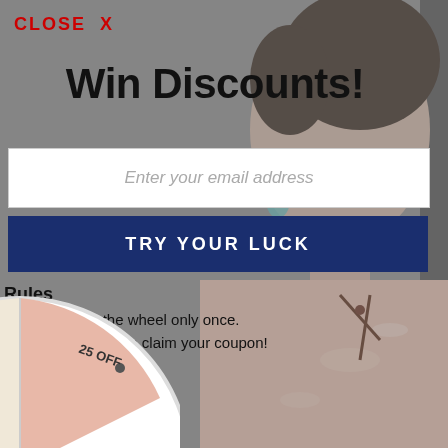[Figure (screenshot): Background showing a woman model wearing a pink Chinese-style floral dress (cheongsam), with the upper portion showing her face with dramatic makeup and teal drop earrings, against a gray background.]
CLOSE  X
Win Discounts!
Enter your email address
TRY YOUR LUCK
Rules
You can spin the wheel only once.
If you win, you can claim your coupon!
[Figure (illustration): Partial view of a spinning prize wheel at the bottom left, showing two segments: one labeled 'Next time' (cream/beige color) and one labeled '25 OFF' (pink color), with decorative dots on the wheel rim.]